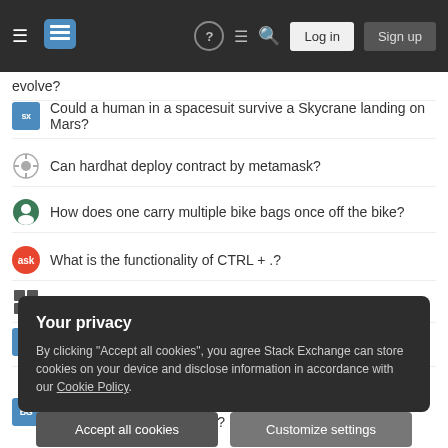Stack Exchange navigation header with Log in and Sign up buttons
evolve?
Could a human in a spacesuit survive a Skycrane landing on Mars?
Can hardhat deploy contract by metamask?
How does one carry multiple bike bags once off the bike?
What is the functionality of CTRL + .?
Is DNS redirection scenario possible?
What would be the significance of a legal provision specifying a period of 12 months, rather than 1 year?
Can Esika, God of the Tree ever cheat the back side of a double-sided card into play?
Your privacy
By clicking "Accept all cookies", you agree Stack Exchange can store cookies on your device and disclose information in accordance with our Cookie Policy.
Accept all cookies   Customize settings